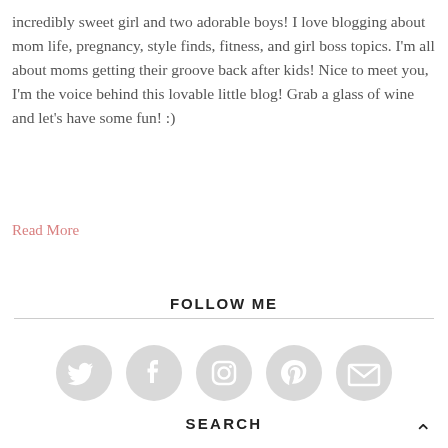incredibly sweet girl and two adorable boys! I love blogging about mom life, pregnancy, style finds, fitness, and girl boss topics. I'm all about moms getting their groove back after kids! Nice to meet you, I'm the voice behind this lovable little blog! Grab a glass of wine and let's have some fun! :)
Read More
FOLLOW ME
[Figure (infographic): Five circular social media icons in light grey: Twitter bird, Facebook f, Instagram camera, Pinterest p, and envelope/email]
SEARCH